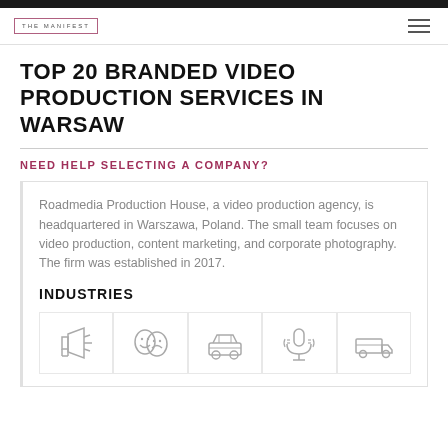THE MANIFEST
TOP 20 BRANDED VIDEO PRODUCTION SERVICES IN WARSAW
NEED HELP SELECTING A COMPANY?
Roadmedia Production House, a video production agency, is headquartered in Warszawa, Poland. The small team focuses on video production, content marketing, and corporate photography. The firm was established in 2017.
INDUSTRIES
[Figure (infographic): Five industry icons in a row: megaphone/advertising, theater masks/arts, car/automotive, microphone/media, delivery truck/logistics]